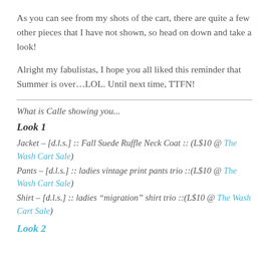As you can see from my shots of the cart, there are quite a few other pieces that I have not shown, so head on down and take a look!
Alright my fabulistas, I hope you all liked this reminder that Summer is over…LOL. Until next time, TTFN!
What is Calle showing you...
Look 1
Jacket – [d.l.s.] :: Fall Suede Ruffle Neck Coat :: (L$10 @ The Wash Cart Sale)
Pants – [d.l.s.] :: ladies vintage print pants trio ::(L$10 @ The Wash Cart Sale)
Shirt – [d.l.s.] :: ladies “migration” shirt trio ::(L$10 @ The Wash Cart Sale)
Look 2